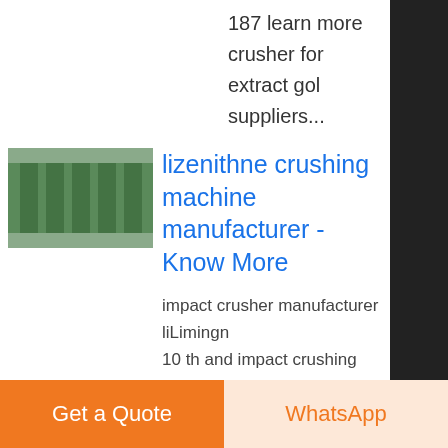187 learn more crusher for extract gold suppliers...
[Figure (photo): Thumbnail image of an indoor facility with green courts/lanes]
lizenithne crushing machine manufacturer - Know More
impact crusher manufacturer liLimingne 10 th and impact crushing machine liLimingne hammer crusher mill price i guyana sale middot; china product sto crushing plant and a block making pla for the manufacture of basalt...
[Figure (photo): Thumbnail image of industrial crusher machine]
Impact Crusher For Lizenithne Mine ore kroerk - Know More